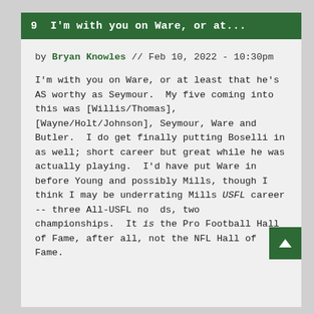9  I'm with you on Ware, or at...
by Bryan Knowles // Feb 10, 2022 - 10:30pm
I'm with you on Ware, or at least that he's AS worthy as Seymour.  My five coming into this was [Willis/Thomas], [Wayne/Holt/Johnson], Seymour, Ware and Butler.  I do get finally putting Boselli in as well; short career but great while he was actually playing.  I'd have put Ware in before Young and possibly Mills, though I think I may be underrating Mills USFL career -- three All-USFL nods, two championships.  It is the Pro Football Hall of Fame, after all, not the NFL Hall of Fame.